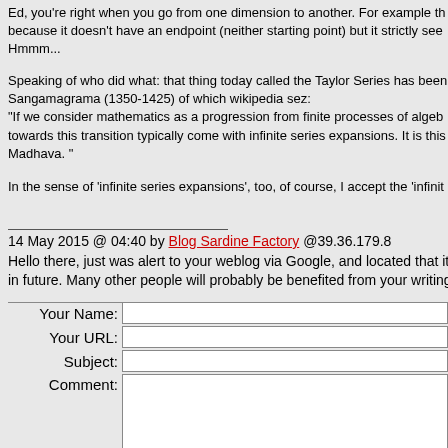Ed, you're right when you go from one dimension to another. For example th because it doesn't have an endpoint (neither starting point) but it strictly see Hmmm...
Speaking of who did what: that thing today called the Taylor Series has been Sangamagrama (1350-1425) of which wikipedia sez: "If we consider mathematics as a progression from finite processes of algeb towards this transition typically come with infinite series expansions. It is this Madhava. "
In the sense of 'infinite series expansions', too, of course, I accept the 'infinit
14 May 2015 @ 04:40 by Blog Sardine Factory @39.36.179.8 Hello there, just was alert to your weblog via Google, and located that it is re in future. Many other people will probably be benefited from your writing. Ch
| Label | Input |
| --- | --- |
| Your Name: |  |
| Your URL: |  |
| Subject: |  |
| Comment: |  |